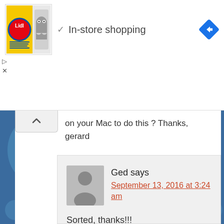[Figure (screenshot): Lidl ad banner with logo, 'In-store shopping' text, checkmark, and navigation arrow icon]
on your Mac to do this ? Thanks, gerard
Ged says
September 13, 2016 at 3:24 am

Sorted, thanks!!!